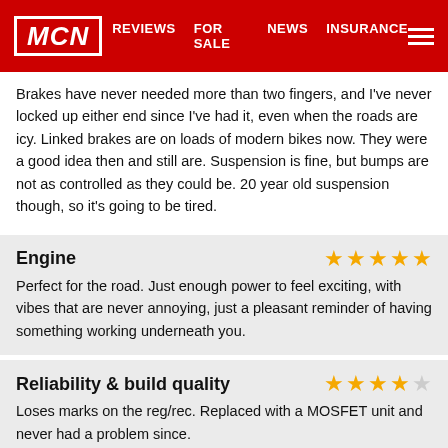MCN | REVIEWS | FOR SALE | NEWS | INSURANCE
Brakes have never needed more than two fingers, and I've never locked up either end since I've had it, even when the roads are icy. Linked brakes are on loads of modern bikes now. They were a good idea then and still are. Suspension is fine, but bumps are not as controlled as they could be. 20 year old suspension though, so it's going to be tired.
Engine
Perfect for the road. Just enough power to feel exciting, with vibes that are never annoying, just a pleasant reminder of having something working underneath you.
Reliability & build quality
Loses marks on the reg/rec. Replaced with a MOSFET unit and never had a problem since.
Value vs rivals